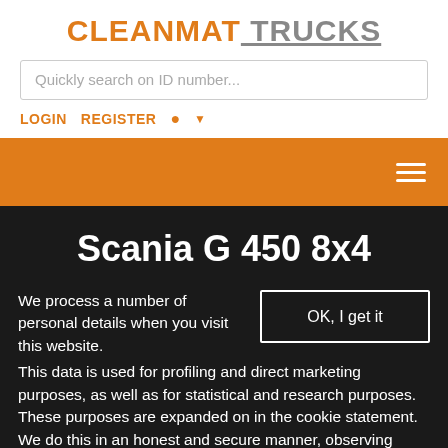CLEANMAT TRUCKS
Quickly search on ID number...
LOGIN  REGISTER
[Figure (screenshot): Orange navigation banner with hamburger menu icon (three white horizontal lines) on the right]
Scania G 450 8x4
We process a number of personal details when you visit this website. This data is used for profiling and direct marketing purposes, as well as for statistical and research purposes. These purposes are expanded on in the cookie statement. We do this in an honest and secure manner, observing legislation and regulations. More information.